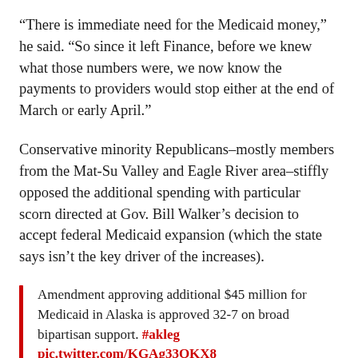“There is immediate need for the Medicaid money,” he said. “So since it left Finance, before we knew what those numbers were, we now know the payments to providers would stop either at the end of March or early April.”
Conservative minority Republicans–mostly members from the Mat-Su Valley and Eagle River area–stiffly opposed the additional spending with particular scorn directed at Gov. Bill Walker’s decision to accept federal Medicaid expansion (which the state says isn’t the key driver of the increases).
Amendment approving additional $45 million for Medicaid in Alaska is approved 32-7 on broad bipartisan support. #akleg pic.twitter.com/KGAg33OKX8